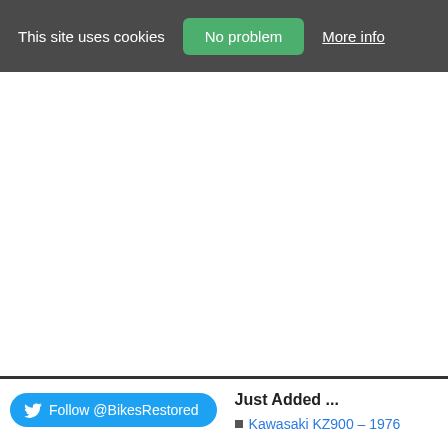This site uses cookies   No problem   More info
Just Added ...
Kawasaki KZ900 – 1976